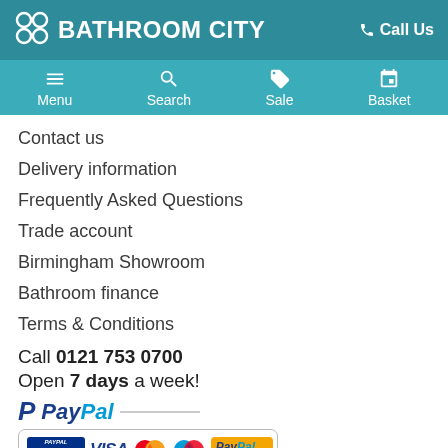BATHROOM CITY | Call Us
[Figure (screenshot): Navigation bar with Menu, Search, Sale, Basket icons on teal background]
Contact us
Delivery information
Frequently Asked Questions
Trade account
Birmingham Showroom
Bathroom finance
Terms & Conditions
Call 0121 753 0700
Open 7 days a week!
[Figure (logo): PayPal payment logos including VISA, MasterCard, Maestro, PayPal Express Checkout with No Paypal Account Needed bar]
[Figure (logo): Sage Pay logo]